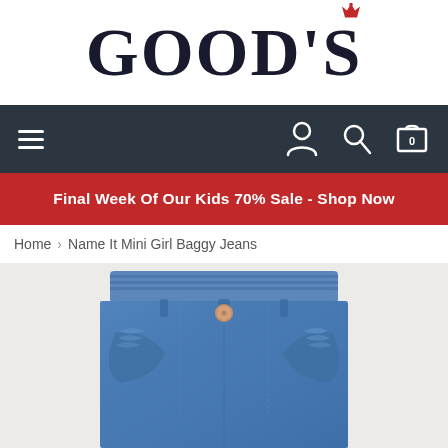[Figure (logo): GOOD'S retail store logo with red crown above the apostrophe]
[Figure (screenshot): Dark navy navigation bar with hamburger menu on left and user/search/cart icons on right]
Final Week Of Our Kids 70% Sale - Shop Now
Home > Name It Mini Girl Baggy Jeans
[Figure (photo): Close-up photo of Name It Mini Girl Baggy Jeans in medium blue denim with ruffle pocket detail, elastic waist, and copper button, shown on light grey background]